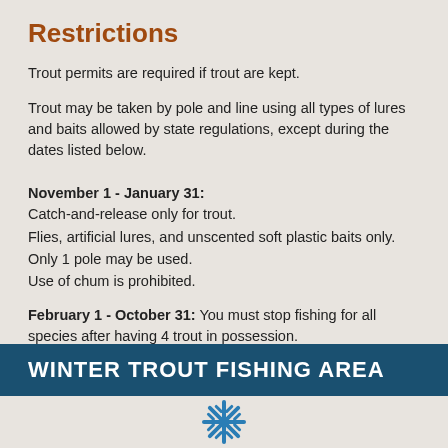Restrictions
Trout permits are required if trout are kept.
Trout may be taken by pole and line using all types of lures and baits allowed by state regulations, except during the dates listed below.
November 1 - January 31:
Catch-and-release only for trout.
Flies, artificial lures, and unscented soft plastic baits only.
Only 1 pole may be used.
Use of chum is prohibited.
February 1 - October 31: You must stop fishing for all species after having 4 trout in possession.
WINTER TROUT FISHING AREA
[Figure (illustration): Blue snowflake icon partially visible at the bottom of the page]